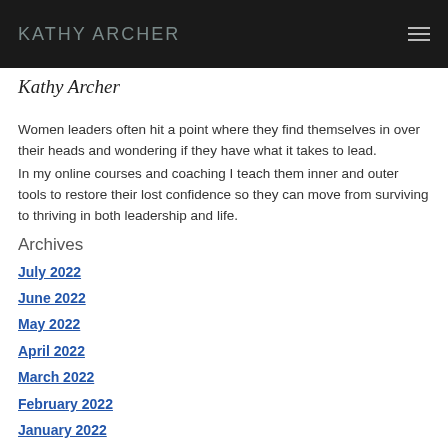KATHY ARCHER
Kathy Archer
Women leaders often hit a point where they find themselves in over their heads and wondering if they have what it takes to lead.
In my online courses and coaching I teach them inner and outer tools to restore their lost confidence so they can move from surviving to thriving in both leadership and life.
Archives
July 2022
June 2022
May 2022
April 2022
March 2022
February 2022
January 2022
December 2021